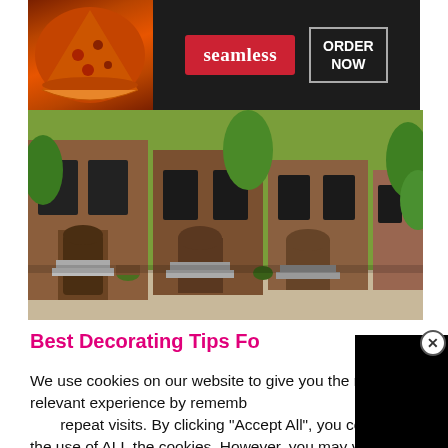[Figure (screenshot): Seamless food delivery ad banner with pizza image, red seamless logo badge, and ORDER NOW button in bordered box]
[Figure (photo): Street-level photograph of brownstone row houses in an urban neighborhood with stairs leading to front doors and green trees]
Best Decorating Tips Fo[r...]
We use cookies on our website to give you the most relevant experience by remembering your preferences and repeat visits. By clicking "Accept All", you consent to the use of ALL the cookies. However, you may visit "Cookie Settings" to provide a controlled consent.
[Figure (screenshot): Black video overlay panel on right side of page]
[Figure (screenshot): MAC cosmetics ad with colorful lipsticks, MAC logo, and SHOP NOW button]
CLOSE